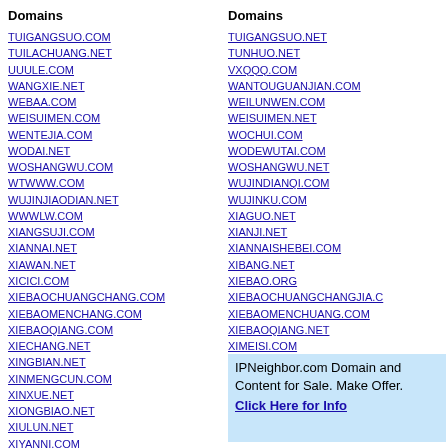Domains
TUIGANGSUO.COM
TUILACHUANG.NET
UUULE.COM
WANGXIE.NET
WEBAA.COM
WEISUIMEN.COM
WENTEJIA.COM
WODAI.NET
WOSHANGWU.COM
WTWWW.COM
WUJINJIAODIAN.NET
WWWLW.COM
XIANGSUJI.COM
XIANNAI.NET
XIAWAN.NET
XICICI.COM
XIEBAOCHUANGCHANG.COM
XIEBAOMENCHANG.COM
XIEBAOQIANG.COM
XIECHANG.NET
XINGBIAN.NET
XINMENGCUN.COM
XINXUE.NET
XIONGBIAO.NET
XIULUN.NET
XIYANNI.COM
Domains
TUIGANGSUO.NET
TUNHUO.NET
VXQQQ.COM
WANTOUGUANJIAN.COM
WEILUNWEN.COM
WEISUIMEN.NET
WOCHUI.COM
WODEWUTAI.COM
WOSHANGWU.NET
WUJINDIANQI.COM
WUJINKU.COM
XIAGUO.NET
XIANJI.NET
XIANNAISHEBEI.COM
XIBANG.NET
XIEBAO.ORG
XIEBAOCHUANGCHANGJIA.C
XIEBAOMENCHUANG.COM
XIEBAOQIANG.NET
XIMEISI.COM
XINGNIAN.NET
IPNeighbor.com Domain and Content for Sale. Make Offer. Click Here for Info